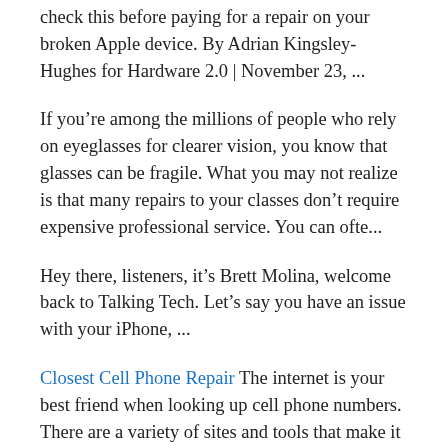check this before paying for a repair on your broken Apple device. By Adrian Kingsley-Hughes for Hardware 2.0 | November 23, ...
If you’re among the millions of people who rely on eyeglasses for clearer vision, you know that glasses can be fragile. What you may not realize is that many repairs to your classes don’t require expensive professional service. You can ofte...
Hey there, listeners, it’s Brett Molina, welcome back to Talking Tech. Let’s say you have an issue with your iPhone, ...
Closest Cell Phone Repair The internet is your best friend when looking up cell phone numbers. There are a variety of sites and tools that make it simple to perform a cell phone number search. Some tools are free to use while others may charge a nominal fee.